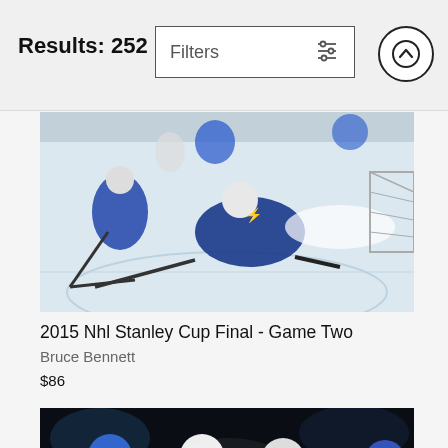Results: 252
[Figure (photo): Hockey game photo: Tampa Bay Lightning player sliding on ice during 2015 NHL Stanley Cup Final Game Two, players in blue uniforms]
2015 Nhl Stanley Cup Final - Game Two
Bruce Bennett
$86
[Figure (photo): Hockey players in red and white uniforms huddled together, wearing helmets including blue, white, and blue helmets, dark arena background]